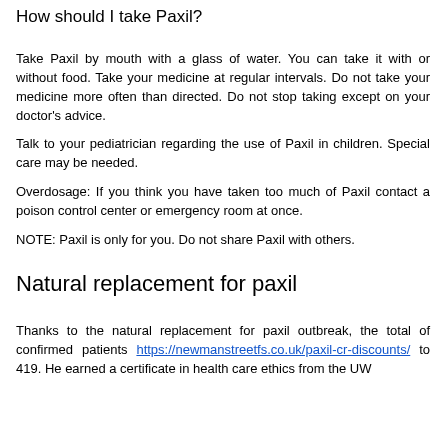How should I take Paxil?
Take Paxil by mouth with a glass of water. You can take it with or without food. Take your medicine at regular intervals. Do not take your medicine more often than directed. Do not stop taking except on your doctor's advice.
Talk to your pediatrician regarding the use of Paxil in children. Special care may be needed.
Overdosage: If you think you have taken too much of Paxil contact a poison control center or emergency room at once.
NOTE: Paxil is only for you. Do not share Paxil with others.
Natural replacement for paxil
Thanks to the natural replacement for paxil outbreak, the total of confirmed patients https://newmanstreetfs.co.uk/paxil-cr-discounts/ to 419. He earned a certificate in health care ethics from the UW